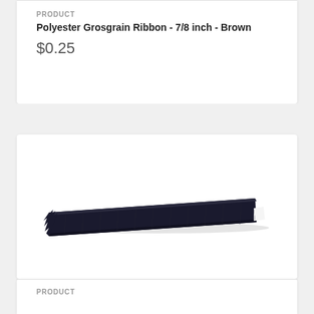PRODUCT
Polyester Grosgrain Ribbon - 7/8 inch - Brown
$0.25
[Figure (photo): A dark navy/black grosgrain ribbon strip shown diagonally against a white background, with a small white tag visible at the right end.]
PRODUCT